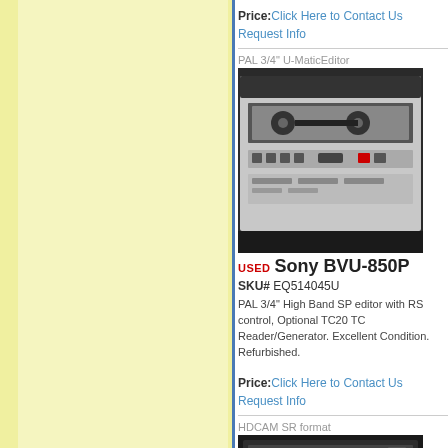Price: Click Here to Contact Us
Request Info
PAL 3/4" U-MaticEditor
[Figure (photo): Photo of Sony BVU-850P PAL 3/4 inch U-Matic editor rack-mounted equipment, showing front panel with tape transport and controls]
USED Sony BVU-850P
SKU# EQ514045U
PAL 3/4" High Band SP editor with RS control, Optional TC20 TC Reader/Generator. Excellent Condition. Refurbished.
Price: Click Here to Contact Us
Request Info
HDCAM SR format
[Figure (photo): Partial photo of HDCAM SR format equipment, bottom portion visible]